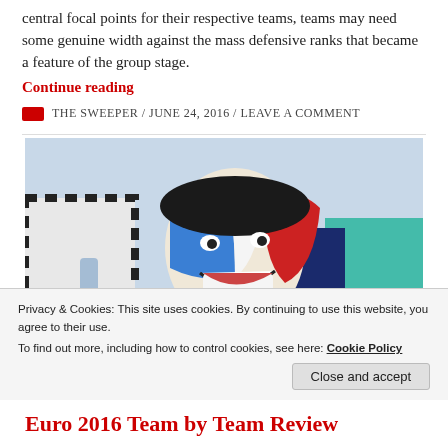central focal points for their respective teams, teams may need some genuine width against the mass defensive ranks that became a feature of the group stage.
Continue reading
THE SWEEPER / JUNE 24, 2016 / LEAVE A COMMENT
[Figure (photo): A young man with face painted in French tricolour (blue, white, red) cheering at a football match, surrounded by other fans.]
Privacy & Cookies: This site uses cookies. By continuing to use this website, you agree to their use.
To find out more, including how to control cookies, see here: Cookie Policy
Close and accept
Euro 2016 Team by Team Review